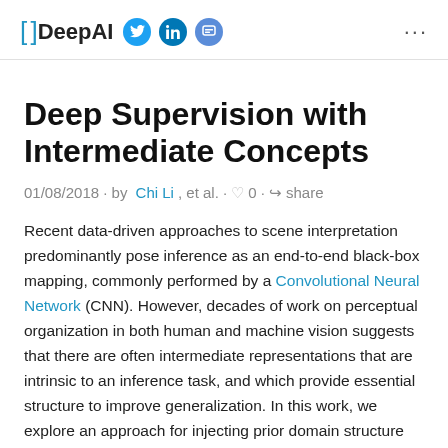[ ] DeepAI (social icons: Twitter, LinkedIn, Chat) ...
Deep Supervision with Intermediate Concepts
01/08/2018 · by Chi Li, et al. · ♡ 0 · share
Recent data-driven approaches to scene interpretation predominantly pose inference as an end-to-end black-box mapping, commonly performed by a Convolutional Neural Network (CNN). However, decades of work on perceptual organization in both human and machine vision suggests that there are often intermediate representations that are intrinsic to an inference task, and which provide essential structure to improve generalization. In this work, we explore an approach for injecting prior domain structure